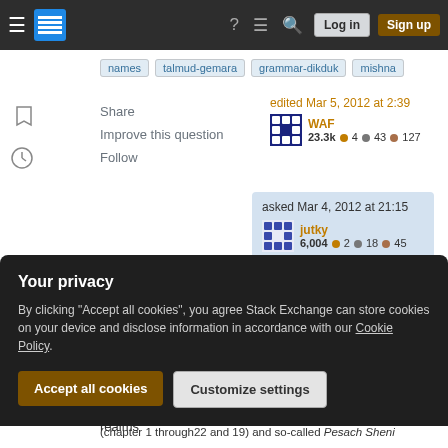Stack Exchange navigation bar with Log in and Sign up buttons
names
talmud-gemara
grammar-dikduk
mishna
Share
Improve this question
Follow
edited Mar 5, 2012 at 2:39
WAF
23.3k ● 4 ● 43 ● 127
asked Mar 4, 2012 at 21:15
jutky
6,004 ● 2 ● 18 ● 45
Isn't this a question on terminology in general? Those realms
Your privacy
By clicking "Accept all cookies", you agree Stack Exchange can store cookies on your device and disclose information in accordance with our Cookie Policy.
Accept all cookies
Customize settings
heard explained plural because it's so-called Pesach Rishon (chapter 1 through22 and 19) and so-called Pesach Sheni